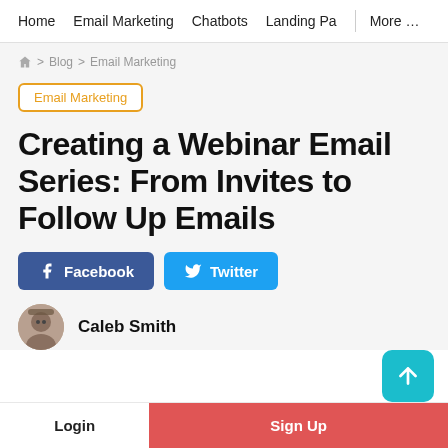Home  Email Marketing  Chatbots  Landing Pa  More …
Home > Blog > Email Marketing
Email Marketing
Creating a Webinar Email Series: From Invites to Follow Up Emails
Facebook  Twitter
Caleb Smith
Login  Sign Up